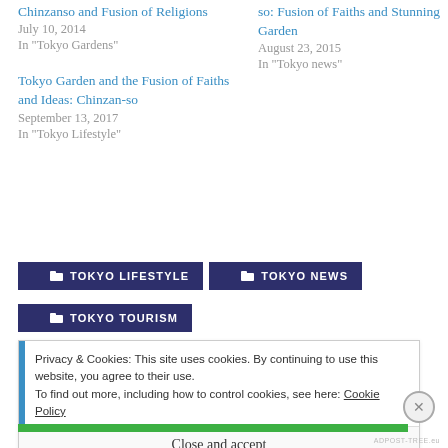Chinzanso and Fusion of Religions
July 10, 2014
In "Tokyo Gardens"
so: Fusion of Faiths and Stunning Garden
August 23, 2015
In "Tokyo news"
Tokyo Garden and the Fusion of Faiths and Ideas: Chinzan-so
September 13, 2017
In "Tokyo Lifestyle"
TOKYO LIFESTYLE
TOKYO NEWS
TOKYO TOURISM
Privacy & Cookies: This site uses cookies. By continuing to use this website, you agree to their use.
To find out more, including how to control cookies, see here: Cookie Policy
Close and accept